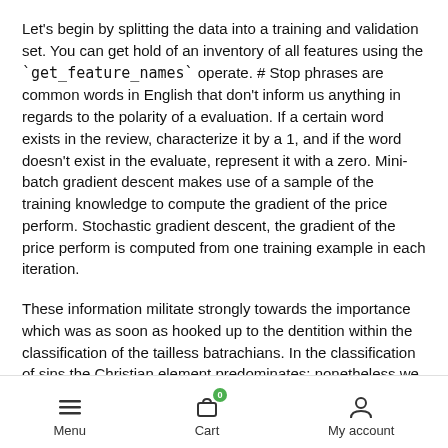Let's begin by splitting the data into a training and validation set. You can get hold of an inventory of all features using the `get_feature_names` operate. # Stop phrases are common words in English that don't inform us anything in regards to the polarity of a evaluation. If a certain word exists in the review, characterize it by a 1, and if the word doesn't exist in the evaluate, represent it with a zero. Mini-batch gradient descent makes use of a sample of the training knowledge to compute the gradient of the price perform. Stochastic gradient descent, the gradient of the price perform is computed from one training example in each iteration.
These information militate strongly towards the importance which was as soon as hooked up to the dentition within the classification of the tailless batrachians. In the classification of sins the Christian element predominates; nonetheless we find the Aristotelian vices of extra and defect, together with the fashionable divisions into " sins in opposition to God, neighbour and self" " mortal and venial sins" and
Menu  Cart  My account